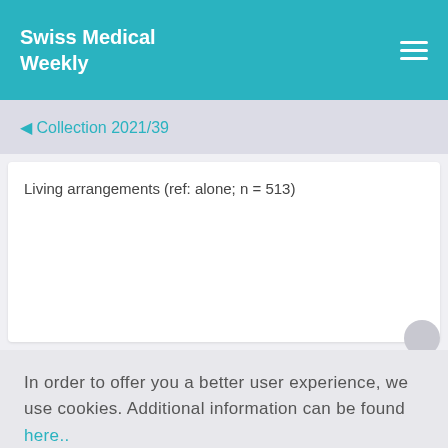Swiss Medical Weekly
◀ Collection 2021/39
Living arrangements (ref: alone; n = 513)
In order to offer you a better user experience, we use cookies. Additional information can be found here..
ACCEPT